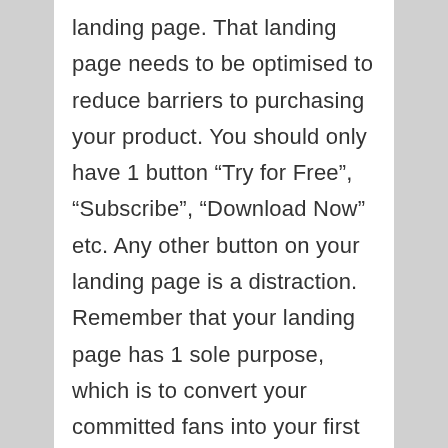landing page. That landing page needs to be optimised to reduce barriers to purchasing your product. You should only have 1 button “Try for Free”, “Subscribe”, “Download Now” etc. Any other button on your landing page is a distraction. Remember that your landing page has 1 sole purpose, which is to convert your committed fans into your first 100 customers. Don’t ever forget that.